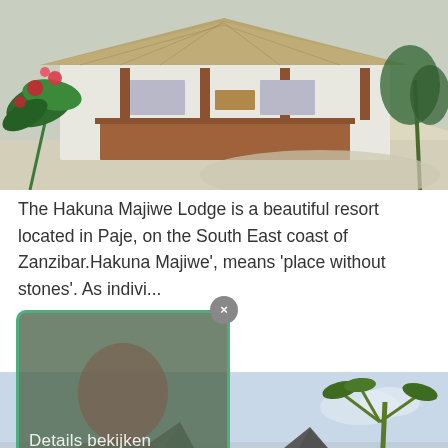[Figure (photo): Hakuna Majiwe Lodge exterior: thatched-roof building with wooden veranda, white sandy ground, tropical plants with red flowers in foreground, taken in daylight]
The Hakuna Majiwe Lodge is a beautiful resort located in Paje, on the South East coast of Zanzibar.Hakuna Majiwe', means 'place without stones'. As indivi...
[Figure (photo): Second photo of lodge with peaked dark tile roofs (bungalow-style buildings), palm trees in background, partially overlaid by a semi-transparent popup card showing a person's face with text 'Details bekijken' and a close button (×)]